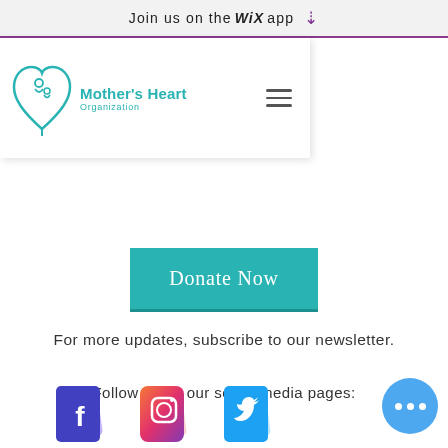Join us on the WiX app ⬇
[Figure (logo): Mother's Heart Organization logo with teal heart icon and text]
[Figure (other): Donate Now teal button]
For more updates, subscribe to our newsletter.
Follow us on our social media pages:
[Figure (other): Facebook, Instagram, and Twitter social media icons at bottom of page]
[Figure (other): Blue chat bubble with three dots (live chat widget)]